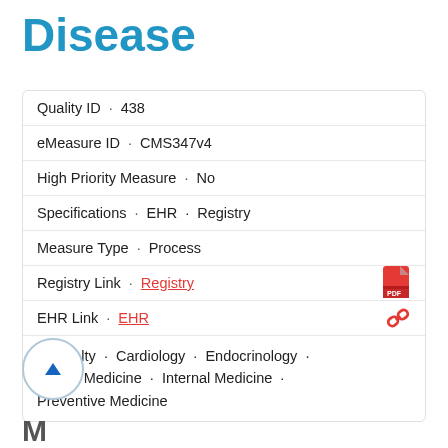Disease
Quality ID · 438
eMeasure ID · CMS347v4
High Priority Measure · No
Specifications · EHR · Registry
Measure Type · Process
Registry Link · Registry
EHR Link · EHR
Specialty · Cardiology · Endocrinology · Family Medicine · Internal Medicine · Preventive Medicine